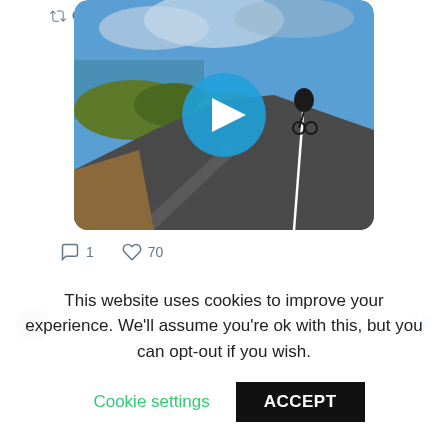[Figure (screenshot): A cyclist riding on a coastal road with ocean and blue sky in the background. A blue play button circle is overlaid in the center of the video thumbnail.]
1   70
Cory Hogan Retweeted
Beth B   @bethb   May 5, 2021
This website uses cookies to improve your experience. We'll assume you're ok with this, but you can opt-out if you wish.
Cookie settings
ACCEPT